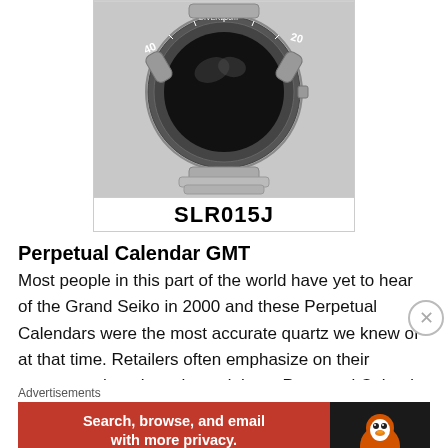[Figure (photo): Photo of a Seiko diver-style watch with stainless steel bracelet, black bezel with dive markings, and a label below reading SLR015J]
Perpetual Calendar GMT
Most people in this part of the world have yet to hear of the Grand Seiko in 2000 and these Perpetual Calendars were the most accurate quartz we knew of at that time. Retailers often emphasize on their accuracy when they showed those Perpetual Calendar watches to their
Advertisements
[Figure (screenshot): DuckDuckGo advertisement banner: orange left side with text 'Search, browse, and email with more privacy. All in One Free App', dark right side with DuckDuckGo logo]